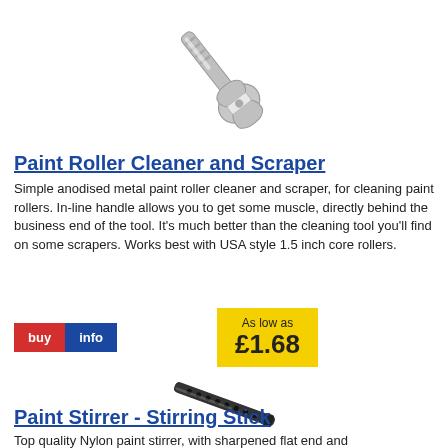[Figure (illustration): Anodised metal paint roller cleaner and scraper tool — a wrench-like silver metal tool photographed diagonally]
Paint Roller Cleaner and Scraper
Simple anodised metal paint roller cleaner and scraper, for cleaning paint rollers. In-line handle allows you to get some muscle, directly behind the business end of the tool. It's much better than the cleaning tool you'll find on some scrapers. Works best with USA style 1.5 inch core rollers.
buy info   As low as £1.68
[Figure (illustration): Black nylon paint stirrer stick with holes along its length, photographed diagonally]
Paint Stirrer - Stirring Stick
Top quality Nylon paint stirrer, with sharpened flat end and